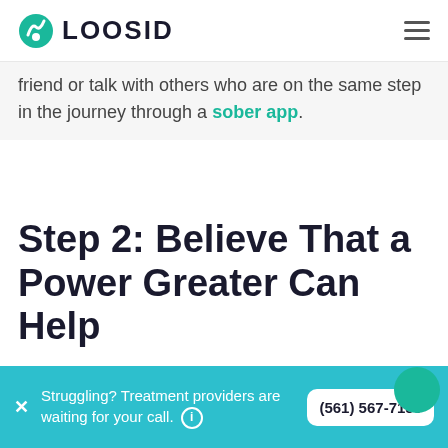LOOSID
friend or talk with others who are on the same step in the journey through a sober app.
Step 2: Believe That a Power Greater Can Help
Struggling? Treatment providers are waiting for your call. (561) 567-7159